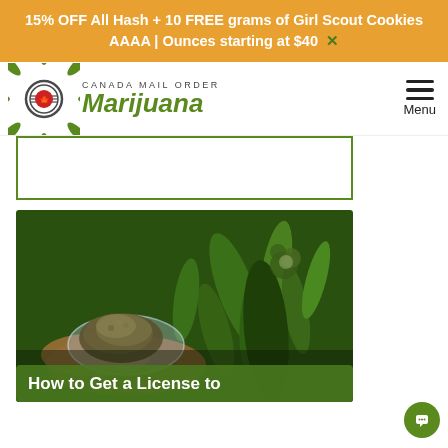15% OFF All Hash + 10 FREE grams of Girl Scout Cookies AAAA | Ounces starting at $40  X
[Figure (logo): Canada Mail Order Marijuana logo with marijuana leaf icon and circular emblem]
[Figure (photo): Person holding cannabis bud in a petri dish against a background of cannabis plants]
How to Get a License to